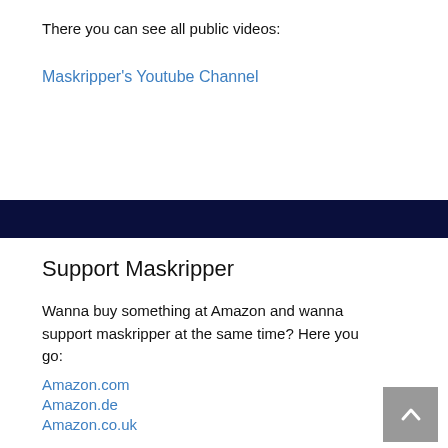There you can see all public videos:
Maskripper's Youtube Channel
Support Maskripper
Wanna buy something at Amazon and wanna support maskripper at the same time? Here you go:
Amazon.com
Amazon.de
Amazon.co.uk